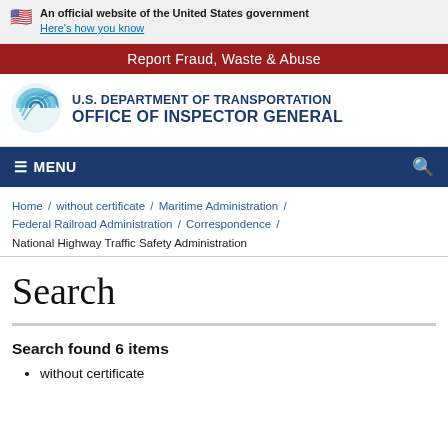An official website of the United States government Here's how you know
Report Fraud, Waste & Abuse
[Figure (logo): U.S. Department of Transportation Office of Inspector General logo with circular swirl emblem]
U.S. DEPARTMENT OF TRANSPORTATION OFFICE OF INSPECTOR GENERAL
≡ MENU
Home / without certificate / Maritime Administration / Federal Railroad Administration / Correspondence / National Highway Traffic Safety Administration
Search
Search found 6 items
without certificate